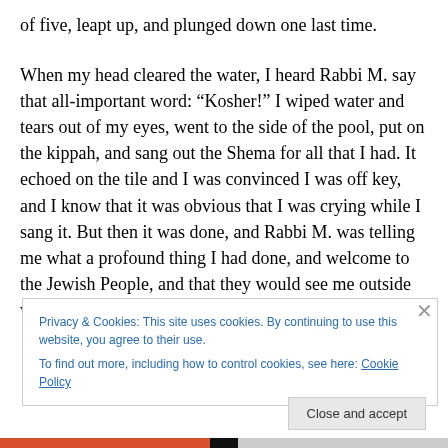of five, leapt up, and plunged down one last time.
When my head cleared the water, I heard Rabbi M. say that all-important word: “Kosher!” I wiped water and tears out of my eyes, went to the side of the pool, put on the kippah, and sang out the Shema for all that I had. It echoed on the tile and I was convinced I was off key, and I know that it was obvious that I was crying while I sang it. But then it was done, and Rabbi M. was telling me what a profound thing I had done, and welcome to the Jewish People, and that they would see me outside when I was
Privacy & Cookies: This site uses cookies. By continuing to use this website, you agree to their use.
To find out more, including how to control cookies, see here: Cookie Policy
Close and accept